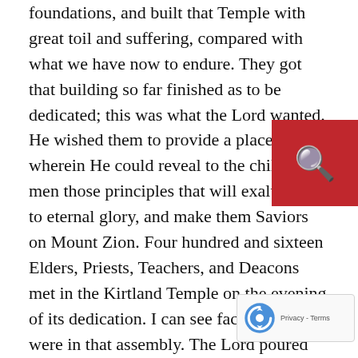foundations, and built that Temple with great toil and suffering, compared with what we have now to endure. They got that building so far finished as to be dedicated; this was what the Lord wanted. He wished them to provide a place wherein He could reveal to the children of men those principles that will exalt them to eternal glory, and make them Saviors on Mount Zion. Four hundred and sixteen Elders, Priests, Teachers, and Deacons met in the Kirtland Temple on the evening of its dedication. I can see faces here that were in that assembly. The Lord poured His Spirit upon us and gave us some little idea of the law of anointing, and conferred upon us some blessings. He taught us how to shout Hosanna, gave Joseph the keys of the gathering together of Israel, and revealed to us, what, why the fact of it was, He dare not trust us with the first key of the Priesthood. He told us to wash ourselves, and that almost made the women mad, and they said, as they were not admitted the Temple while this washing was being performed, that